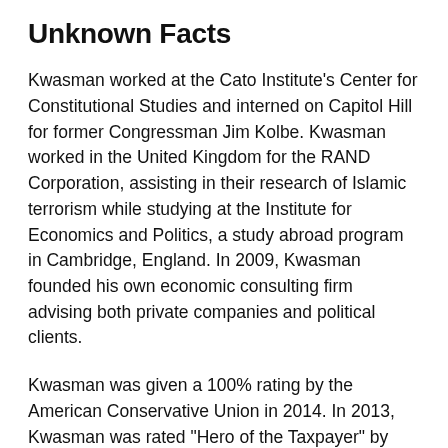Unknown Facts
Kwasman worked at the Cato Institute's Center for Constitutional Studies and interned on Capitol Hill for former Congressman Jim Kolbe. Kwasman worked in the United Kingdom for the RAND Corporation, assisting in their research of Islamic terrorism while studying at the Institute for Economics and Politics, a study abroad program in Cambridge, England. In 2009, Kwasman founded his own economic consulting firm advising both private companies and political clients.
Kwasman was given a 100% rating by the American Conservative Union in 2014. In 2013, Kwasman was rated "Hero of the Taxpayer" by Americans for Prosperity.